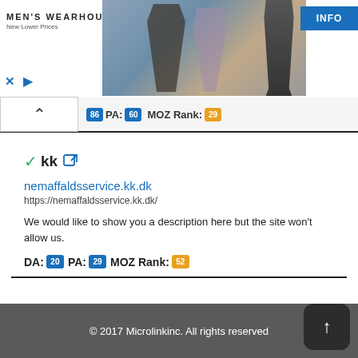[Figure (screenshot): Men's Wearhouse advertisement banner with logo, photo of couple in formal wear, and INFO button]
PA: 86 MOZ Rank: 29
✔kk
nemaffaldsservice.kk.dk
https://nemaffaldsservice.kk.dk/
We would like to show you a description here but the site won't allow us.
DA: 20 PA: 29 MOZ Rank: 52
© 2017 Microlinkinc. All rights reserved